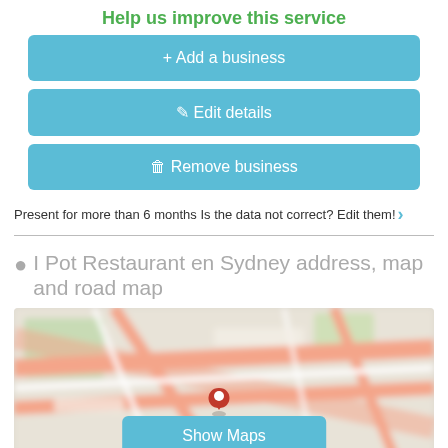Help us improve this service
+ Add a business
✎ Edit details
🗑 Remove business
Present for more than 6 months Is the data not correct? Edit them! ›
I Pot Restaurant en Sydney address, map and road map
[Figure (map): Blurred street map of Sydney with a red location pin marker in the center and a 'Show Maps' button overlay at the bottom.]